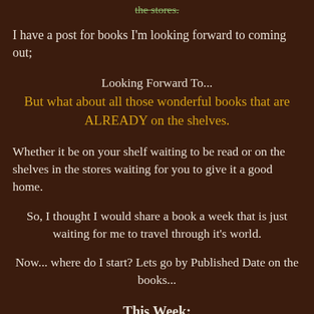the stores.
I have a post for books I'm looking forward to coming out;
Looking Forward To...
But what about all those wonderful books that are ALREADY on the shelves.
Whether it be on your shelf waiting to be read or on the shelves in the stores waiting for you to give it a good home.
So, I thought I would share a book a week that is just waiting for me to travel through it's world.
Now... where do I start? Lets go by Published Date on the books...
This Week:
I read the first book in this series shortly after I started reading a few years back.  Found it on one of my shelf browsing days and liked what I saw.  Then, found out the